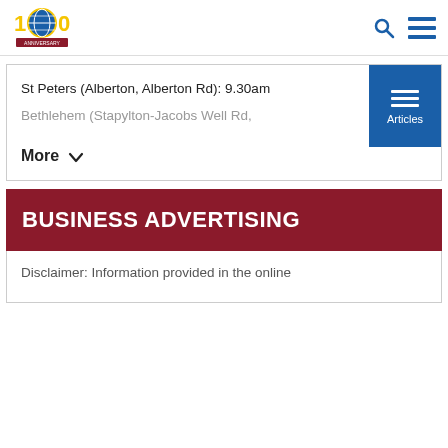LCNRP logo and navigation icons (search, menu)
St Peters (Alberton, Alberton Rd): 9.30am
Bethlehem (Stapylton-Jacobs Well Rd,
More
BUSINESS ADVERTISING
Disclaimer: Information provided in the online